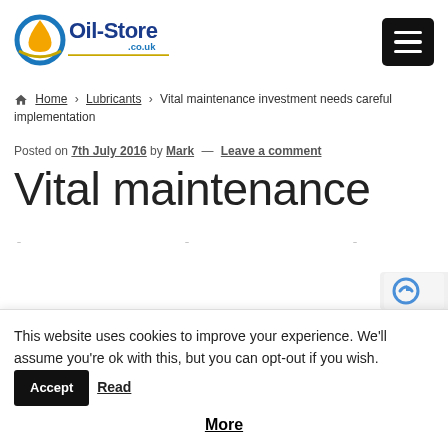[Figure (logo): Oil-Store.co.uk logo with blue oil drop icon and blue/gold text]
[Figure (other): Hamburger menu button (three white lines on black rounded square)]
Home › Lubricants › Vital maintenance investment needs careful implementation
Posted on 7th July 2016 by Mark — Leave a comment
Vital maintenance
This website uses cookies to improve your experience. We'll assume you're ok with this, but you can opt-out if you wish. Accept Read More